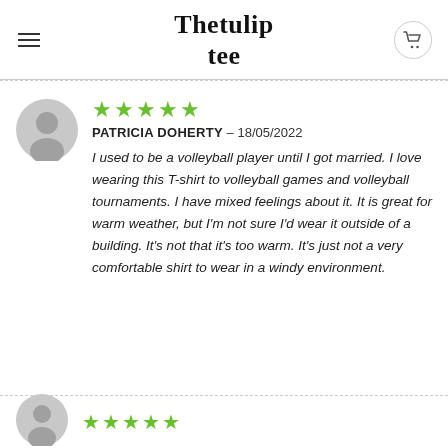Thetulip tee
[Figure (illustration): Gray circular avatar icon with silhouette of a person]
★★★★★
PATRICIA DOHERTY – 18/05/2022
I used to be a volleyball player until I got married. I love wearing this T-shirt to volleyball games and volleyball tournaments. I have mixed feelings about it. It is great for warm weather, but I'm not sure I'd wear it outside of a building. It's not that it's too warm. It's just not a very comfortable shirt to wear in a windy environment.
[Figure (illustration): Gray circular avatar icon with silhouette of a person (partially visible second review)]
★★★★★